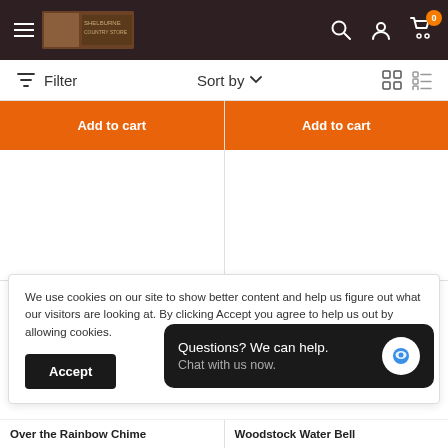[Figure (screenshot): E-commerce website header with dark brown background showing hamburger menu, store logo, search icon, account icon, and cart icon with badge showing 0]
Filter
Sort by
(grid/list view toggle icons)
[Figure (screenshot): Two orange Add to cart buttons side by side in a two-column product grid layout]
We use cookies on our site to show better content and help us figure out what our visitors are looking at. By clicking Accept you agree to help us out by allowing cookies.
Accept
Questions? We can help.
Chat with us now.
Over the Rainbow Chime
Woodstock Water Bell